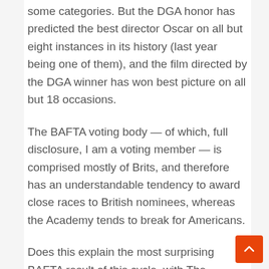some categories. But the DGA honor has predicted the best director Oscar on all but eight instances in its history (last year being one of them), and the film directed by the DGA winner has won best picture on all but 18 occasions.
The BAFTA voting body — of which, full disclosure, I am a voting member — is comprised mostly of Brits, and therefore has an understandable tendency to award close races to British nominees, whereas the Academy tends to break for Americans.
Does this explain the most surprising BAFTA result of this cycle, with The Father's Anthony Hopkins upsetting the late Chadwick Boseman, who has won at every other major awards show this season and was heavily favored to win again for his work in Ma Rainey's Black Bottom, or